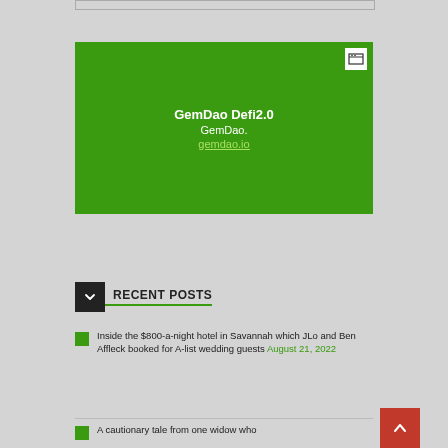[Figure (other): Green advertisement block for GemDao Defi2.0 with white text showing GemDao. and gemdao.io link]
RECENT POSTS
Inside the $800-a-night hotel in Savannah which JLo and Ben Affleck booked for A-list wedding guests August 21, 2022
A cautionary tale from one widow who